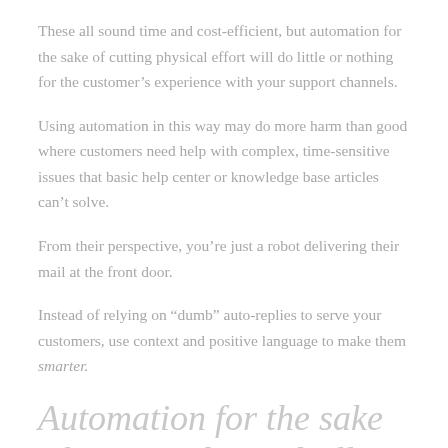These all sound time and cost-efficient, but automation for the sake of cutting physical effort will do little or nothing for the customer's experience with your support channels.
Using automation in this way may do more harm than good where customers need help with complex, time-sensitive issues that basic help center or knowledge base articles can't solve.
From their perspective, you're just a robot delivering their mail at the front door.
Instead of relying on “dumb” auto-replies to serve your customers, use context and positive language to make them smarter.
Automation for the sake of cutting physical effort will do